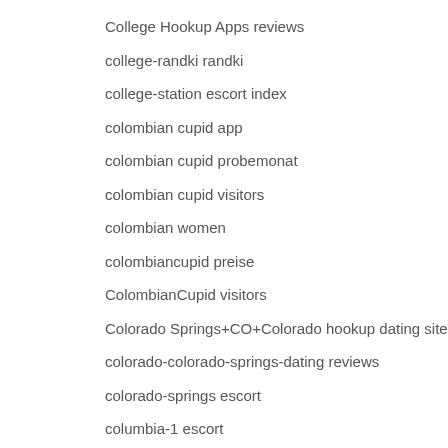College Hookup Apps reviews
college-randki randki
college-station escort index
colombian cupid app
colombian cupid probemonat
colombian cupid visitors
colombian women
colombiancupid preise
ColombianCupid visitors
Colorado Springs+CO+Colorado hookup dating site
colorado-colorado-springs-dating reviews
colorado-springs escort
columbia-1 escort
columbus-1 escort index
compare pay day loan